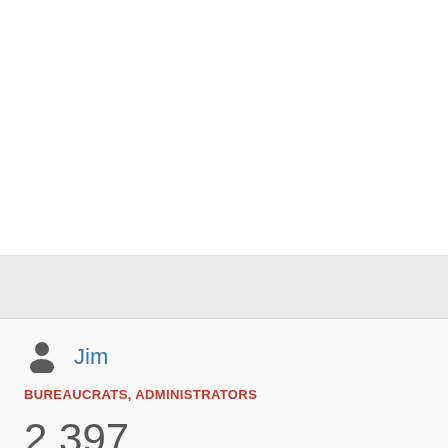[Figure (other): User avatar icon (silhouette of a person) next to username]
Jim
BUREAUCRATS, ADMINISTRATORS
2,397
EDITS